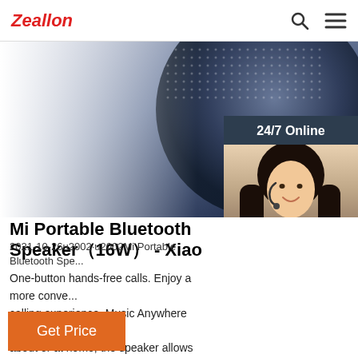Zeallon
[Figure (screenshot): Website screenshot showing Zeallon logo, search and menu icons in header, speaker product hero image, and a 24/7 Online chat widget with a customer service representative photo and QUOTATION button]
Mi Portable Bluetooth Speaker（16W） - Xiao
2021-10-26u2002·u2002Mi Portable Bluetooth Spe... One-button hands-free calls. Enjoy a more conve... calling experience. Music Anywhere Whether you... about or at home, the speaker allows you to indu... music wherever you go ...
Get Price